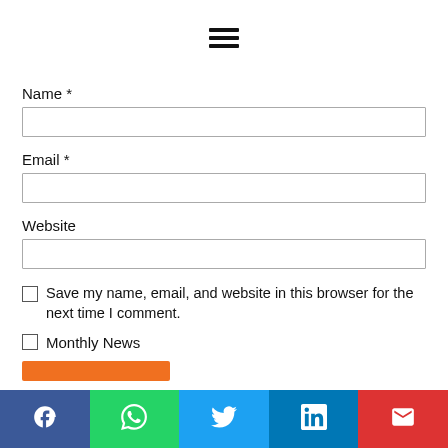[Figure (other): Hamburger menu icon (three horizontal lines)]
Name *
Email *
Website
Save my name, email, and website in this browser for the next time I comment.
Monthly News
[Figure (other): Social sharing bar with Facebook, WhatsApp, Twitter, LinkedIn, and Email buttons]